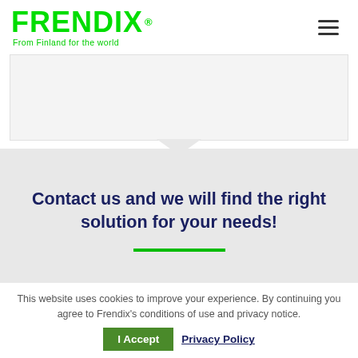FRENDIX® From Finland for the world
[Figure (screenshot): White card/content area below header]
Contact us and we will find the right solution for your needs!
This website uses cookies to improve your experience. By continuing you agree to Frendix's conditions of use and privacy notice.
I Accept   Privacy Policy